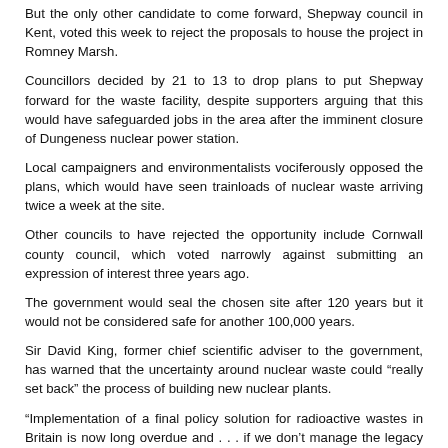But the only other candidate to come forward, Shepway council in Kent, voted this week to reject the proposals to house the project in Romney Marsh.
Councillors decided by 21 to 13 to drop plans to put Shepway forward for the waste facility, despite supporters arguing that this would have safeguarded jobs in the area after the imminent closure of Dungeness nuclear power station.
Local campaigners and environmentalists vociferously opposed the plans, which would have seen trainloads of nuclear waste arriving twice a week at the site.
Other councils to have rejected the opportunity include Cornwall county council, which voted narrowly against submitting an expression of interest three years ago.
The government would seal the chosen site after 120 years but it would not be considered safe for another 100,000 years.
Sir David King, former chief scientific adviser to the government, has warned that the uncertainty around nuclear waste could “really set back” the process of building new nuclear plants.
“Implementation of a final policy solution for radioactive wastes in Britain is now long overdue and . . . if we don’t manage the legacy issue with the best science this in itself could hinder nuclear new build,” he said.